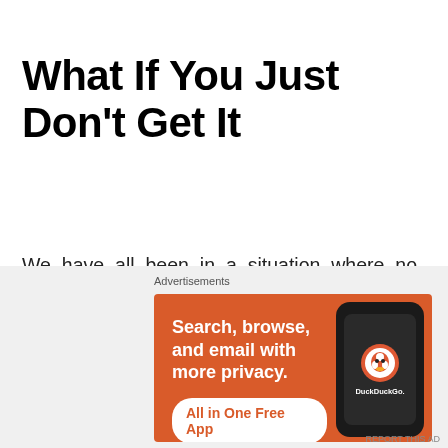What If You Just Don't Get It
We have all been in a situation where no matter how hard you try, you just can't get a technique right. Even if your instructor or training partner is being very compliant and helpful.
[Figure (screenshot): DuckDuckGo advertisement banner with orange background showing 'Search, browse, and email with more privacy. All in One Free App' with a phone mockup and DuckDuckGo logo]